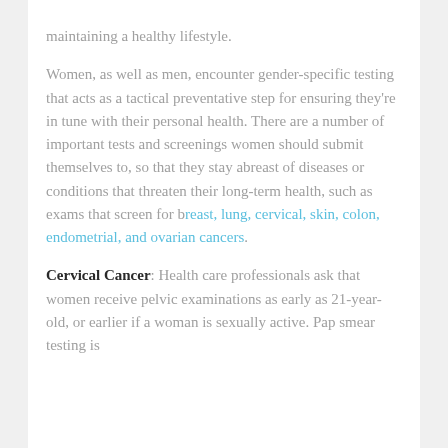maintaining a healthy lifestyle.
Women, as well as men, encounter gender-specific testing that acts as a tactical preventative step for ensuring they're in tune with their personal health. There are a number of important tests and screenings women should submit themselves to, so that they stay abreast of diseases or conditions that threaten their long-term health, such as exams that screen for breast, lung, cervical, skin, colon, endometrial, and ovarian cancers.
Cervical Cancer: Health care professionals ask that women receive pelvic examinations as early as 21-year-old, or earlier if a woman is sexually active. Pap smear testing is